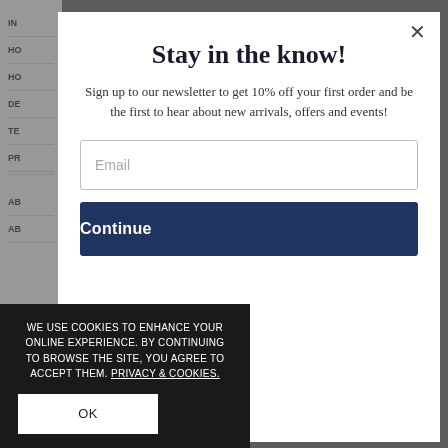[Figure (screenshot): Background webpage with dimmed navigation sidebar showing partial menu items: IN, HO, HO, DE, TE, PR, AB, AB]
Stay in the know!
Sign up to our newsletter to get 10% off your first order and be the first to hear about new arrivals, offers and events!
Email
Continue
WE USE COOKIES TO ENHANCE YOUR ONLINE EXPERIENCE. BY CONTINUING TO BROWSE THE SITE, YOU AGREE TO ACCEPT THEM. PRIVACY & COOKIES.
OK